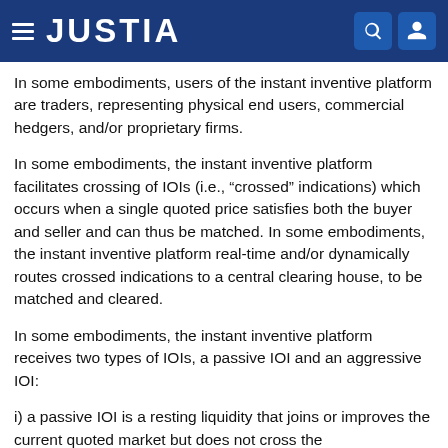JUSTIA
In some embodiments, users of the instant inventive platform are traders, representing physical end users, commercial hedgers, and/or proprietary firms.
In some embodiments, the instant inventive platform facilitates crossing of IOIs (i.e., “crossed” indications) which occurs when a single quoted price satisfies both the buyer and seller and can thus be matched. In some embodiments, the instant inventive platform real-time and/or dynamically routes crossed indications to a central clearing house, to be matched and cleared.
In some embodiments, the instant inventive platform receives two types of IOIs, a passive IOI and an aggressive IOI:
i) a passive IOI is a resting liquidity that joins or improves the current quoted market but does not cross the